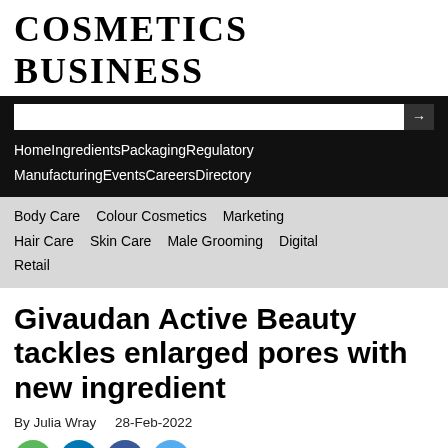COSMETICS BUSINESS
[Figure (screenshot): Navigation bar with dark background containing a search box with arrow button, and nav links: Home, Ingredients, Packaging, Regulatory, Manufacturing, Events, Careers, Directory]
[Figure (screenshot): Light grey secondary navigation bar with links: Body Care, Colour Cosmetics, Marketing, Hair Care, Skin Care, Male Grooming, Digital, Retail]
Givaudan Active Beauty tackles enlarged pores with new ingredient
By Julia Wray   28-Feb-2022
[Figure (other): Row of four social media share icons: green share icon, LinkedIn (blue), Facebook (dark blue), Twitter (light blue)]